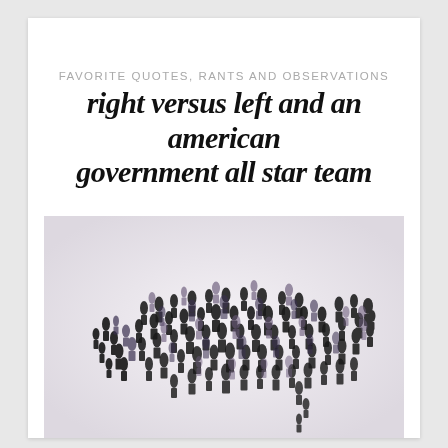FAVORITE QUOTES, RANTS AND OBSERVATIONS
right versus left and an american government all star team
[Figure (illustration): Silhouettes of many people arranged in the shape of the United States of America, on a light lavender-grey background. The figures are black and grey/purple tones, varying in size, suggesting a crowd forming the US map outline.]